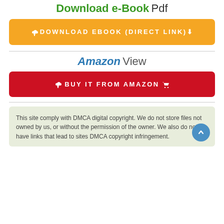Download e-Book Pdf
[Figure (other): Orange download button with text DOWNLOAD EBOOK (DIRECT LINK) and download icon]
Amazon View
[Figure (other): Red button with text BUY IT FROM AMAZON with cloud and cart icons]
This site comply with DMCA digital copyright. We do not store files not owned by us, or without the permission of the owner. We also do not have links that lead to sites DMCA copyright infringement.